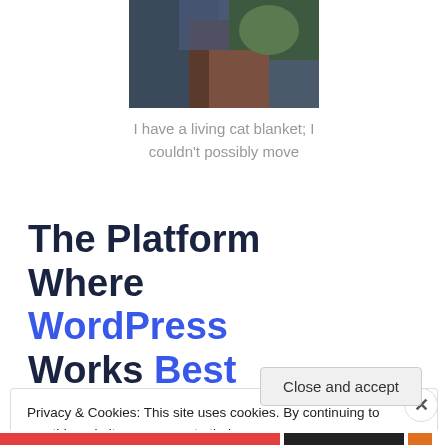[Figure (photo): A cat resting on or near a person wearing a blue jacket, outdoors scene.]
I have a living cat blanket; I couldn't possibly move
The Platform Where WordPress Works Best
Privacy & Cookies: This site uses cookies. By continuing to use this website, you agree to their use.
To find out more, including how to control cookies, see here: Cookie Policy
Close and accept